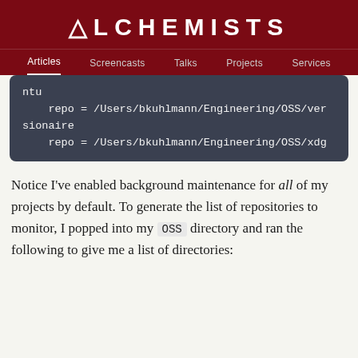ALCHEMISTS
Articles  Screencasts  Talks  Projects  Services
[Figure (screenshot): Code block showing git configuration with repo paths: ntu, repo = /Users/bkuhlmann/Engineering/OSS/versionaire, repo = /Users/bkuhlmann/Engineering/OSS/xdg]
Notice I've enabled background maintenance for all of my projects by default. To generate the list of repositories to monitor, I popped into my OSS directory and ran the following to give me a list of directories: